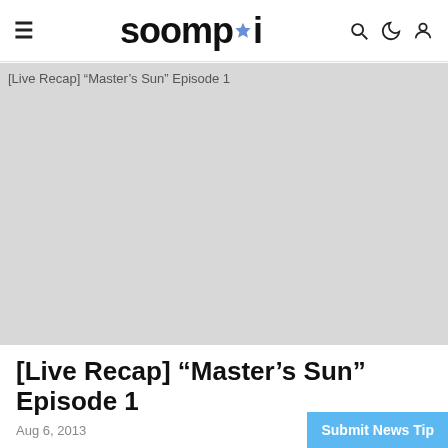soompi
[Figure (photo): Placeholder image for [Live Recap] “Master’s Sun” Episode 1 article thumbnail, shown as a grey rectangle with alt text]
[Live Recap] “Master’s Sun” Episode 1
Aug 6, 2013
Submit News Tip